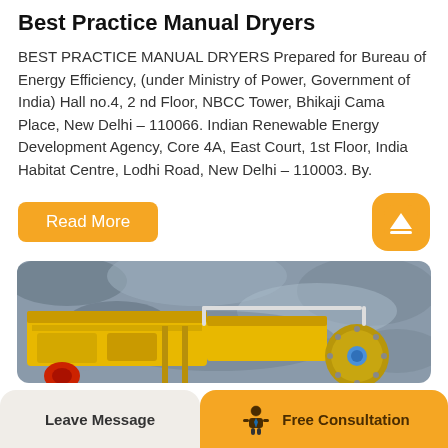Best Practice Manual Dryers
BEST PRACTICE MANUAL DRYERS Prepared for Bureau of Energy Efficiency, (under Ministry of Power, Government of India) Hall no.4, 2 nd Floor, NBCC Tower, Bhikaji Cama Place, New Delhi – 110066. Indian Renewable Energy Development Agency, Core 4A, East Court, 1st Floor, India Habitat Centre, Lodhi Road, New Delhi – 110003. By.
[Figure (other): Read More button (orange/yellow) on left, and an up-arrow icon button (orange/yellow rounded square) on the right]
[Figure (photo): Industrial mining/crushing machinery (yellow) against a rocky background, photographed outdoors]
[Figure (other): Bottom navigation bar: 'Leave Message' button on lighter background on left, consultant icon and 'Free Consultation' on orange background on right]